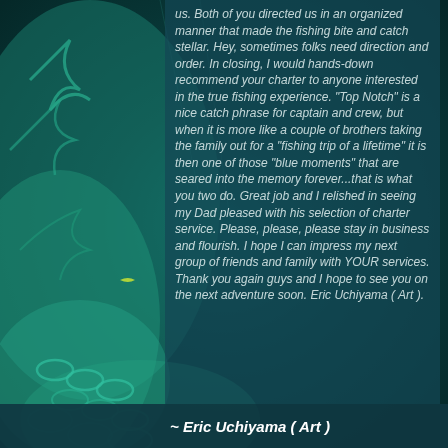[Figure (photo): Underwater photo of teal/green coral or fishing nets with blue-green tones, serving as background.]
us. Both of you directed us in an organized manner that made the fishing bite and catch stellar. Hey, sometimes folks need direction and order. In closing, I would hands-down recommend your charter to anyone interested in the true fishing experience. "Top Notch" is a nice catch phrase for captain and crew, but when it is more like a couple of brothers taking the family out for a "fishing trip of a lifetime" it is then one of those "blue moments" that are seared into the memory forever...that is what you two do. Great job and I relished in seeing my Dad pleased with his selection of charter service. Please, please, please stay in business and flourish. I hope I can impress my next group of friends and family with YOUR services. Thank you again guys and I hope to see you on the next adventure soon. Eric Uchiyama ( Art ).
~ Eric Uchiyama ( Art )